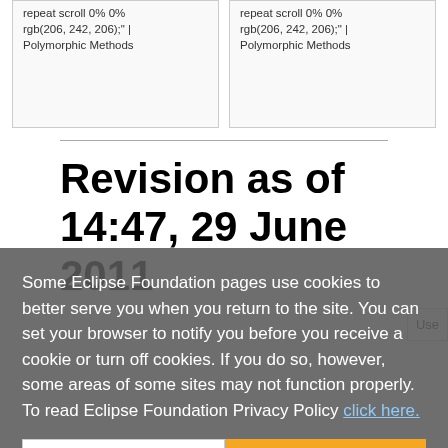| repeat scroll 0% 0% rgb(206, 242, 206); | Polymorphic Methods | repeat scroll 0% 0% rgb(206, 242, 206); | Polymorphic Methods |
Revision as of 14:47, 29 June 2011
Some Eclipse Foundation pages use cookies to better serve you when you return to the site. You can set your browser to notify you before you receive a cookie or turn off cookies. If you do so, however, some areas of some sites may not function properly. To read Eclipse Foundation Privacy Policy click here.
Decline
Allow cookies
Community
Mailing List • Forums • IRC • mattermost
Issues
Open • Help Wanted • Bug Day
Contribute
Browse Source